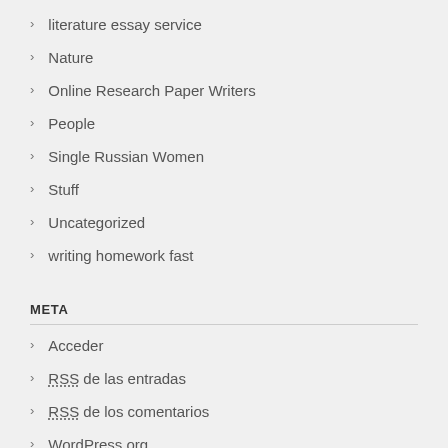literature essay service
Nature
Online Research Paper Writers
People
Single Russian Women
Stuff
Uncategorized
writing homework fast
META
Acceder
RSS de las entradas
RSS de los comentarios
WordPress.org